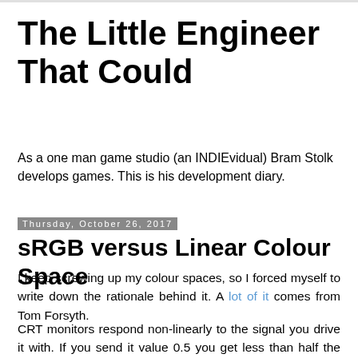The Little Engineer That Could
As a one man game studio (an INDIEvidual) Bram Stolk develops games. This is his development diary.
Thursday, October 26, 2017
sRGB versus Linear Colour Space
I keep screwing up my colour spaces, so I forced myself to write down the rationale behind it. A lot of it comes from Tom Forsyth.
CRT monitors respond non-linearly to the signal you drive it with. If you send it value 0.5 you get less than half the brightness (photons) of a pixel with a 1.0 value. This means, you cannot do light calculations in sRGB space. You need to do them in a linear space.